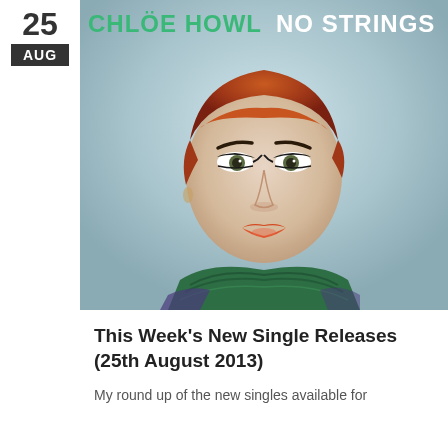25 AUG
[Figure (photo): Album cover for Chlöe Howl 'No Strings' — close-up portrait of a young woman with short red hair, dramatic eye makeup, orange-red lipstick, and a green patterned top. Text overlay reads 'CHLÖE HOWL NO STRINGS' in green and white bold letters at the top.]
This Week's New Single Releases (25th August 2013)
My round up of the new singles available for